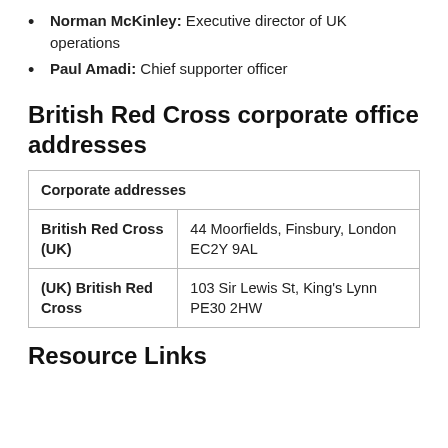Norman McKinley: Executive director of UK operations
Paul Amadi: Chief supporter officer
British Red Cross corporate office addresses
| Corporate addresses |
| --- |
| British Red Cross (UK) | 44 Moorfields, Finsbury, London EC2Y 9AL |
| (UK) British Red Cross | 103 Sir Lewis St, King's Lynn PE30 2HW |
Resource Links